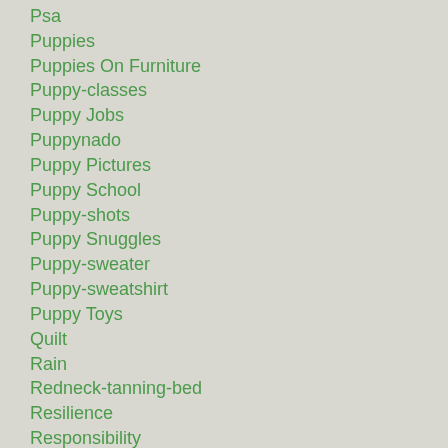Psa
Puppies
Puppies On Furniture
Puppy-classes
Puppy Jobs
Puppynado
Puppy Pictures
Puppy School
Puppy-shots
Puppy Snuggles
Puppy-sweater
Puppy-sweatshirt
Puppy Toys
Quilt
Rain
Redneck-tanning-bed
Resilience
Responsibility
Rocks
Running
Sand